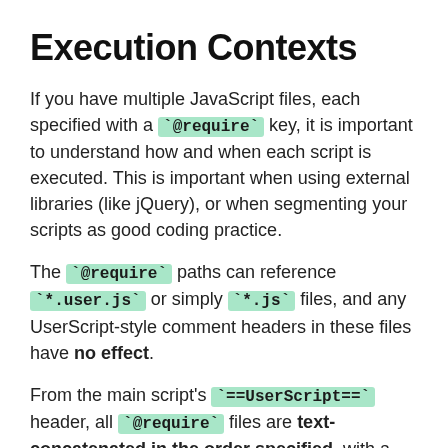Execution Contexts
If you have multiple JavaScript files, each specified with a `@require` key, it is important to understand how and when each script is executed. This is important when using external libraries (like jQuery), or when segmenting your scripts as good coding practice.
The `@require` paths can reference `*.user.js` or simply `*.js` files, and any UserScript-style comment headers in these files have no effect.
From the main script's `==UserScript==` header, all `@require` files are text-concatenated in the order specified, with a single newline separating